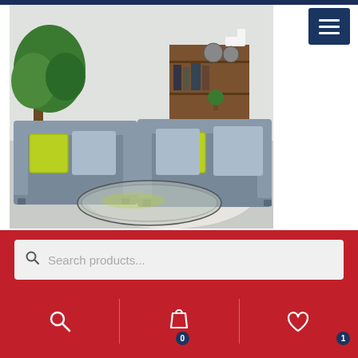[Figure (photo): Grey fabric sofa set (3+2 seater) with lime green accent cushions, glass oval coffee table, shag rug, bookcase, and indoor plants in a living room setting]
JJ 3+2 Plush
£899.00 (strikethrough original price)
£699.00 (sale price in red)
Search products...